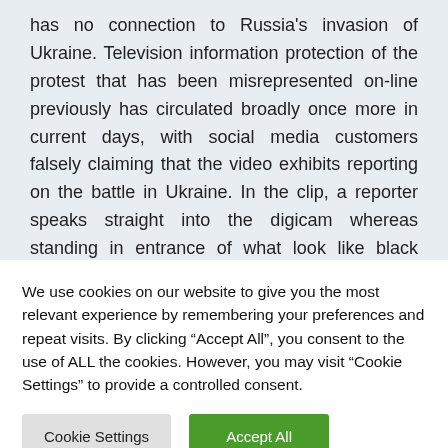has no connection to Russia's invasion of Ukraine. Television information protection of the protest that has been misrepresented on-line previously has circulated broadly once more in current days, with social media customers falsely claiming that the video exhibits reporting on the battle in Ukraine. In the clip, a reporter speaks straight into the digicam whereas standing in entrance of what look like black physique luggage organized on
We use cookies on our website to give you the most relevant experience by remembering your preferences and repeat visits. By clicking "Accept All", you consent to the use of ALL the cookies. However, you may visit "Cookie Settings" to provide a controlled consent.